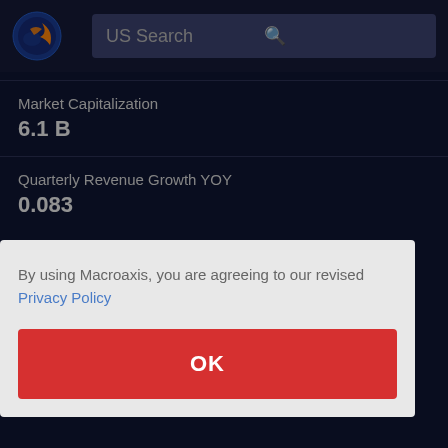[Figure (logo): Macroaxis globe logo with orange and blue colors]
US Search
Market Capitalization
6.1 B
Quarterly Revenue Growth YOY
0.083
By using Macroaxis, you are agreeing to our revised Privacy Policy
OK